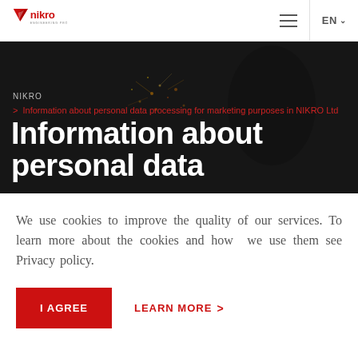[Figure (logo): NIKRO Engineering Production logo — red geometric arrow/triangle with 'nikro' wordmark in red and 'engineering production' subtitle in small text]
[Figure (photo): Dark industrial hero background photo showing sparks/welding with a hooded figure, darkened overlay]
NIKRO
> Information about personal data processing for marketing purposes in NIKRO Ltd
Information about personal data
We use cookies to improve the quality of our services. To learn more about the cookies and how  we use them see Privacy policy.
I AGREE
LEARN MORE >